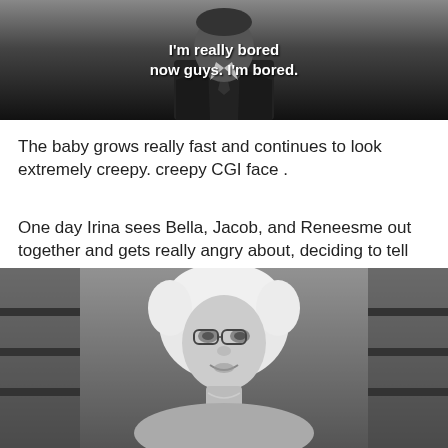[Figure (photo): Black and white screenshot of a man in a suit with white bold text overlay reading: I'm really bored now guys. I'm bored.]
The baby grows really fast and continues to look extremely creepy. creepy CGI face .
One day Irina sees Bella, Jacob, and Reneesme out together and gets really angry about, deciding to tell the Volturi who aren't even that scary.
Irina thinks Renesme is an immortal child. What kind of what is that? You know what I don't really care.
[Figure (photo): Black and white photo of an elderly woman with white curly hair and glasses, looking concerned or serious.]